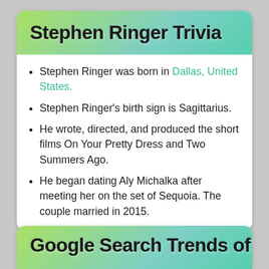Stephen Ringer Trivia
Stephen Ringer was born in Dallas, United States.
Stephen Ringer's birth sign is Sagittarius.
He wrote, directed, and produced the short films On Your Pretty Dress and Two Summers Ago.
He began dating Aly Michalka after meeting her on the set of Sequoia. The couple married in 2015.
Google Search Trends of